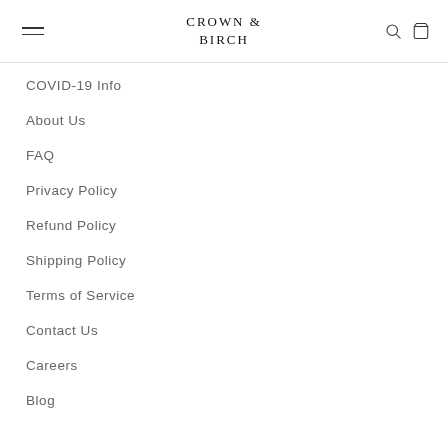CROWN & BIRCH
COVID-19 Info
About Us
FAQ
Privacy Policy
Refund Policy
Shipping Policy
Terms of Service
Contact Us
Careers
Blog